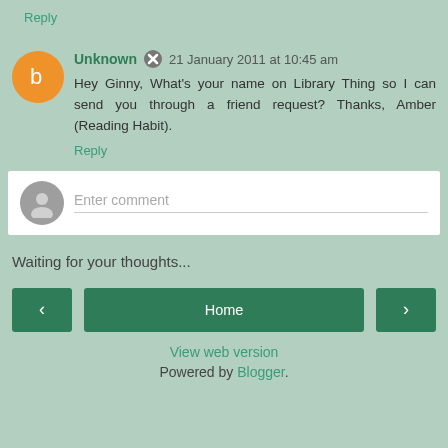Reply
Unknown  21 January 2011 at 10:45 am
Hey Ginny, What's your name on Library Thing so I can send you through a friend request? Thanks, Amber (Reading Habit).
Reply
Enter comment
Waiting for your thoughts...
Home
View web version
Powered by Blogger.